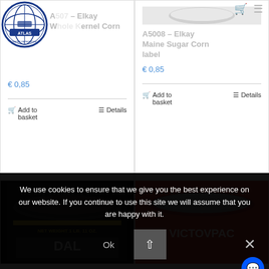[Figure (screenshot): Website product listing page showing vintage food can labels. Top row: two product cards for Elkay corn labels. Bottom row: two product card images showing can tops. Cookie consent banner overlaid at bottom.]
A507 – Elkay Whole Kernel Corn
€ 0,85
Add to basket
Details
A5008 – Elkay Maine Sugar Corn label
€ 0,85
Add to basket
Details
We use cookies to ensure that we give you the best experience on our website. If you continue to use this site we will assume that you are happy with it.
Ok